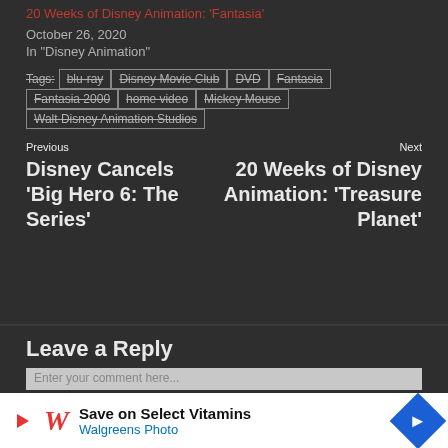20 Weeks of Disney Animation: 'Fantasia'
October 26, 2020
In "Disney Animation"
Tags: blu-ray | Disney Movie Club | DVD | Fantasia | Fantasia 2000 | home video | Mickey Mouse | Walt Disney Animation Studios
Previous
Disney Cancels 'Big Hero 6: The Series'
Next
20 Weeks of Disney Animation: 'Treasure Planet'
Leave a Reply
Enter your comment here...
Save on Select Vitamins
Walgreens Photo